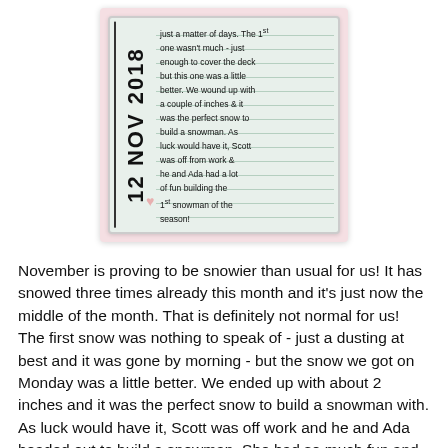[Figure (photo): A journal/diary entry card with a green grid background. The date '12 NOV 2018' is printed vertically on the left side. Handwritten text fills the right portion reading: 'just a matter of days. The 1st one wasn't much - just enough to cover the deck but this one was a little better. We wound up with a couple of inches & it was the perfect snow to build a snowman. As luck would have it, Scott was off from work & he and Ada had a lot of fun building the 1st snowman of the season!' A small heart sticker appears near the bottom left.]
November is proving to be snowier than usual for us! It has snowed three times already this month and it's just now the middle of the month. That is definitely not normal for us! The first snow was nothing to speak of - just a dusting at best and it was gone by morning - but the snow we got on Monday was a little better. We ended up with about 2 inches and it was the perfect snow to build a snowman with. As luck would have it, Scott was off work and he and Ada headed out to build a snowman. She had so much fun and Pops did, too!